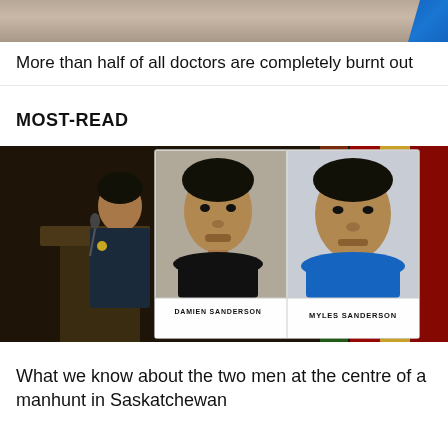[Figure (photo): Partial top image strip — cropped photo with blue graphic element on the right edge]
More than half of all doctors are completely burnt out
MOST-READ
[Figure (photo): Press conference photo showing a police officer in uniform at a podium with flags in the background, and a large board displaying mugshots of two suspects: DAMIEN SANDERSON (left) and MYLES SANDERSON (right)]
What we know about the two men at the centre of a manhunt in Saskatchewan